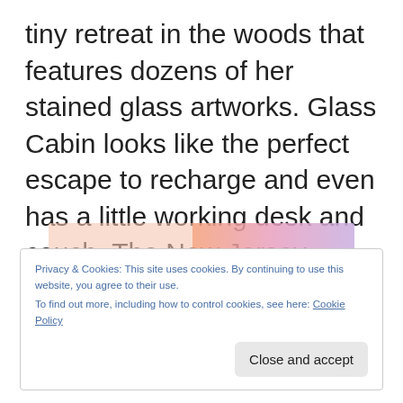tiny retreat in the woods that features dozens of her stained glass artworks. Glass Cabin looks like the perfect escape to recharge and even has a little working desk and couch. The New Jersey-based artist also sells unique...
[Figure (other): Advertisement banner with a gradient from peach/pink to lavender colors]
REPORT THIS AD
Privacy & Cookies: This site uses cookies. By continuing to use this website, you agree to their use.
To find out more, including how to control cookies, see here: Cookie Policy
Close and accept